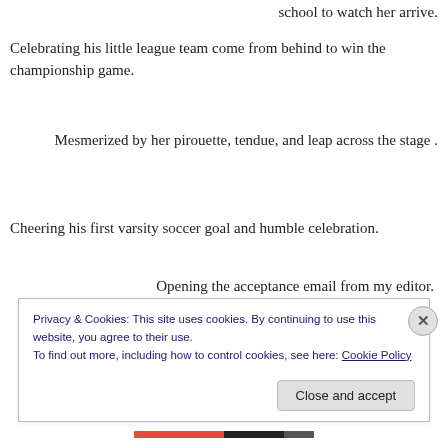school to watch her arrive.
Celebrating his little league team come from behind to win the championship game.
Mesmerized by her pirouette, tendue, and leap across the stage .
Cheering his first varsity soccer goal and humble celebration.
Opening the acceptance email from my editor.
Privacy & Cookies: This site uses cookies. By continuing to use this website, you agree to their use.
To find out more, including how to control cookies, see here: Cookie Policy